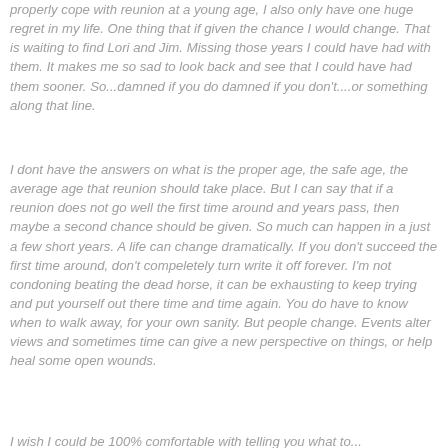properly cope with reunion at a young age, I also only have one huge regret in my life. One thing that if given the chance I would change. That is waiting to find Lori and Jim. Missing those years I could have had with them. It makes me so sad to look back and see that I could have had them sooner. So...damned if you do damned if you don't....or something along that line.
I dont have the answers on what is the proper age, the safe age, the average age that reunion should take place. But I can say that if a reunion does not go well the first time around and years pass, then maybe a second chance should be given. So much can happen in a just a few short years. A life can change dramatically. If you don't succeed the first time around, don't compeletely turn write it off forever. I'm not condoning beating the dead horse, it can be exhausting to keep trying and put yourself out there time and time again. You do have to know when to walk away, for your own sanity. But people change. Events alter views and sometimes time can give a new perspective on things, or help heal some open wounds.
I wish I could be 100% comfortable with telling you what to...